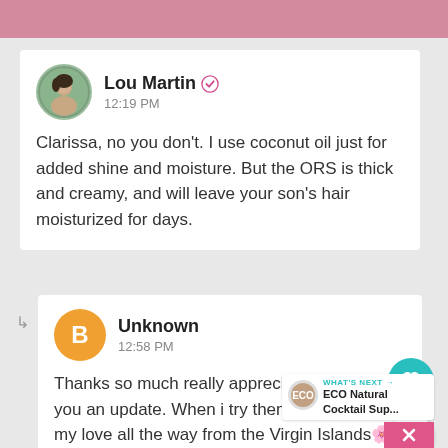[Figure (screenshot): Pink app header bar at top of screen]
Lou Martin ✓
12:19 PM

Clarissa, no you don't. I use coconut oil just for added shine and moisture. But the ORS is thick and creamy, and will leave your son's hair moisturized for days.
Unknown
12:58 PM

Thanks so much really appreciate it. Will give you an update. When i try them out . sending my love all the way from the Virgin Islands🌸🌀🌸